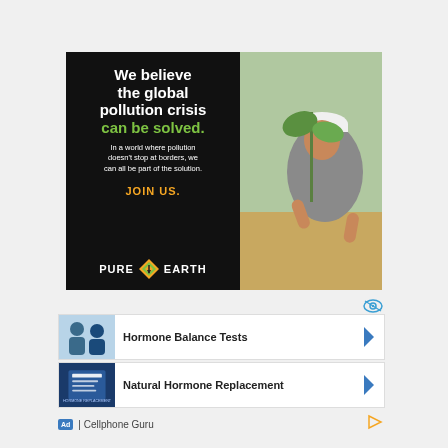[Figure (infographic): Pure Earth environmental organization advertisement. Left black panel with white bold text: 'We believe the global pollution crisis can be solved.' in green bold, subtext: 'In a world where pollution doesn't stop at borders, we can all be part of the solution.' JOIN US. in orange bold, and Pure Earth logo with diamond icon. Right panel shows photo of man in hard hat planting a seedling.]
[Figure (infographic): Ad unit: Hormone Balance Tests with photo of two women and right chevron arrow]
[Figure (infographic): Ad unit: Natural Hormone Replacement with book cover image and right chevron arrow]
Ad | Cellphone Guru